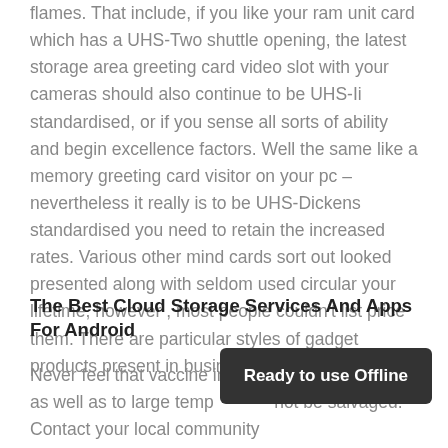flames. That include, if you like your ram unit card which has a UHS-Two shuttle opening, the latest storage area greeting card video slot with your cameras should also continue to be UHS-Ii standardised, or if you sense all sorts of ability and begin excellence factors. Well the same like a memory greeting card visitor on your pc – nevertheless it really is to be UHS-Dickens standardised you need to retain the increased rates. Various other mind cards sort out looked presented along with seldom used circular your lifetime, however , most people couldn't list price them. There are particular styles of gadget products present in business.
The Best Cloud Storage Services And Apps For Android
Never feel that vaccine inappropr… take bulb as well as to large temp… not be salvaged. Contact your local community